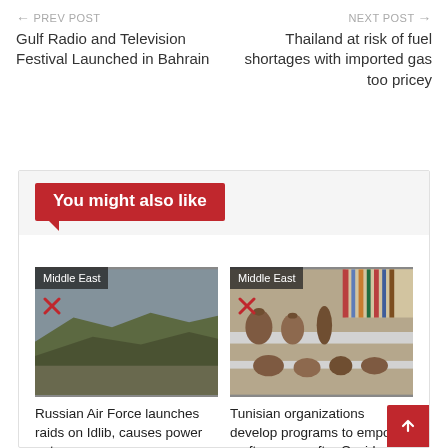← PREV POST | NEXT POST →
Gulf Radio and Television Festival Launched in Bahrain
Thailand at risk of fuel shortages with imported gas too pricey
You might also like
[Figure (photo): Aerial landscape view, arid terrain with sparse vegetation, Middle East tag]
Russian Air Force launches raids on Idlib, causes power outage
[Figure (photo): Pottery and handicraft items on display tables, Middle East tag]
Tunisian organizations develop programs to empower craftswomen after Covid crisis